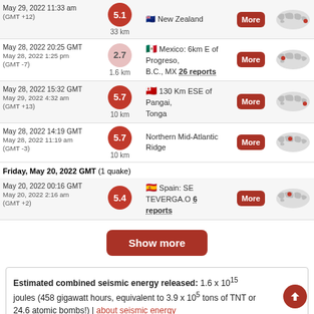May 29, 2022 11:33 am (GMT +12) | Magnitude 5.1 | 33 km | New Zealand | More
May 28, 2022 1:25 pm (GMT -7) | Magnitude 2.7 | 1.6 km | Mexico: 6km E of Progreso, B.C., MX 26 reports | More
May 29, 2022 4:32 am (GMT +13) | Magnitude 5.7 | 10 km | 130 Km ESE of Pangai, Tonga | More
May 28, 2022 11:19 am (GMT -3) | Magnitude 5.7 | 10 km | Northern Mid-Atlantic Ridge | More
Friday, May 20, 2022 GMT (1 quake)
May 20, 2022 2:16 am (GMT +2) | Magnitude 5.4 | Spain: SE TEVERGA.O 6 reports | More
Show more
Estimated combined seismic energy released: 1.6 x 10^15 joules (458 gigawatt hours, equivalent to 3.9 x 10^5 tons of TNT or 24.6 atomic bombs!) | about seismic energy